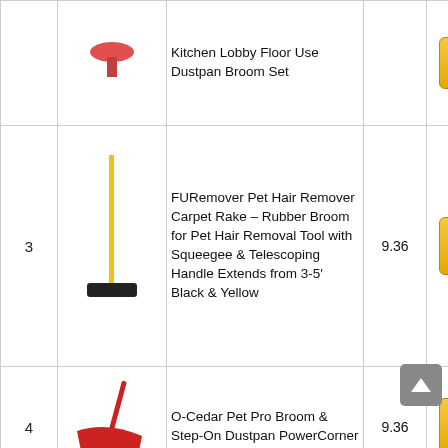| # | Image | Product Name | Score | Link |
| --- | --- | --- | --- | --- |
|  |  | Kitchen Lobby Floor Use Dustpan Broom Set |  |  |
| 3 |  | FURemover Pet Hair Remover Carpet Rake – Rubber Broom for Pet Hair Removal Tool with Squeegee & Telescoping Handle Extends from 3-5' Black & Yellow | 9.36 | Check Price |
| 4 |  | O-Cedar Pet Pro Broom & Step-On Dustpan PowerCorner | 9.36 | Check Price |
|  |  | Yocada Heavy- |  |  |